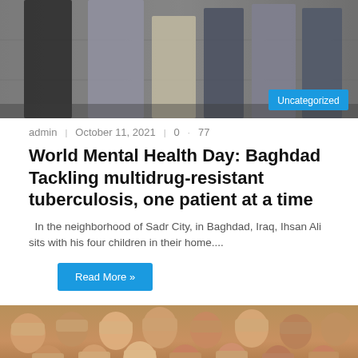[Figure (photo): Group of people standing against a gray concrete wall, barefoot, viewed from mid-body down, with an Uncategorized badge in the bottom right corner]
admin   October 11, 2021   0   77
World Mental Health Day: Baghdad Tackling multidrug-resistant tuberculosis, one patient at a time
In the neighborhood of Sadr City, in Baghdad, Iraq, Ihsan Ali sits with his four children in their home....
Read More »
[Figure (photo): Crowd of diverse people covering their eyes with their hands]